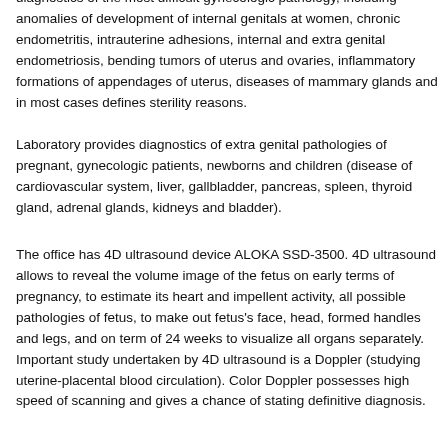diagnostics of the most difficult gynecologic pathology, including anomalies of development of internal genitals at women, chronic endometritis, intrauterine adhesions, internal and extra genital endometriosis, bending tumors of uterus and ovaries, inflammatory formations of appendages of uterus, diseases of mammary glands and in most cases defines sterility reasons.
Laboratory provides diagnostics of extra genital pathologies of pregnant, gynecologic patients, newborns and children (disease of cardiovascular system, liver, gallbladder, pancreas, spleen, thyroid gland, adrenal glands, kidneys and bladder).
The office has 4D ultrasound device ALOKA SSD-3500. 4D ultrasound allows to reveal the volume image of the fetus on early terms of pregnancy, to estimate its heart and impellent activity, all possible pathologies of fetus, to make out fetus's face, head, formed handles and legs, and on term of 24 weeks to visualize all organs separately. Important study undertaken by 4D ultrasound is a Doppler (studying uterine-placental blood circulation). Color Doppler possesses high speed of scanning and gives a chance of stating definitive diagnosis.